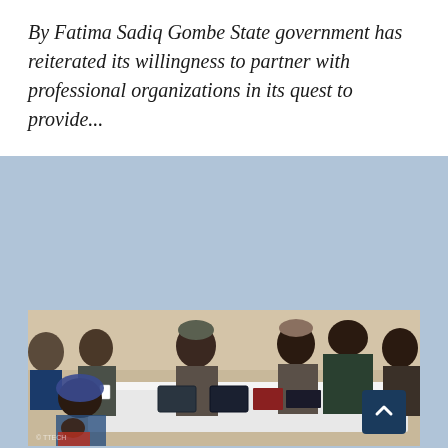By Fatima Sadiq Gombe State government has reiterated its willingness to partner with professional organizations in its quest to provide...
[Figure (photo): A group of people seated and standing around a table covered with a white cloth. A woman holding a baby is seated on the left. Several men in traditional Nigerian attire and caps are seated behind the table. A man in a dark green outfit is leaning over the table. Tablets and books are visible on the table. A watermark is visible in the lower left corner.]